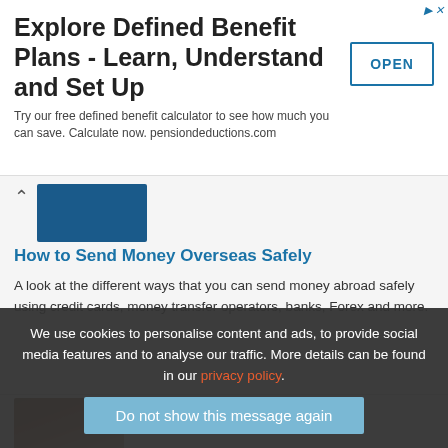[Figure (other): Advertisement banner: Explore Defined Benefit Plans - Learn, Understand and Set Up with OPEN button]
Explore Defined Benefit Plans - Learn, Understand and Set Up
Try our free defined benefit calculator to see how much you can save. Calculate now. pensiondeductions.com
[Figure (photo): Blue thumbnail image for the article about sending money overseas]
How to Send Money Overseas Safely
A look at the different ways that you can send money abroad safely using credit cards, money transfer operators, banks, Forex and more.
[Figure (photo): Photo of a pen resting on a cheque/document, brown tones]
How Long Before My Cheque Clears?
Waiting for that cheque clears into your bank account can seem like months, if you're waiting to access that cash. Here's why...
[Figure (photo): Partial photo of person with head in hands]
How an IVA is better than bankruptcy
We use cookies to personalise content and ads, to provide social media features and to analyse our traffic. More details can be found in our privacy policy.
Do not show this message again